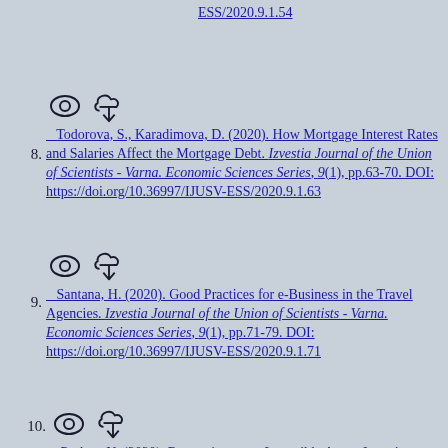ESS/2020.9.1.54 (partial, top of page)
Todorova, S., Karadimova, D. (2020). How Mortgage Interest Rates and Salaries Affect the Mortgage Debt. Izvestia Journal of the Union of Scientists - Varna. Economic Sciences Series, 9(1), pp.63-70. DOI: https://doi.org/10.36997/IJUSV-ESS/2020.9.1.63
Santana, H. (2020). Good Practices for e-Business in the Travel Agencies. Izvestia Journal of the Union of Scientists - Varna. Economic Sciences Series, 9(1), pp.71-79. DOI: https://doi.org/10.36997/IJUSV-ESS/2020.9.1.71
Peshev, N. (2020). Reputation as an Intangible Asset. Izvestia Journal of (partial)